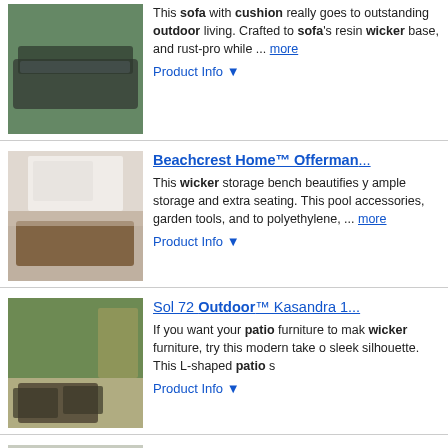[Figure (photo): Outdoor wicker sofa with cushions on a patio]
This sofa with cushion really goes to outstanding outdoor living. Crafted to sofa's resin wicker base, and rust-pro while ... more
Product Info ▼
Beachcrest Home™ Offerman...
[Figure (photo): Wicker storage bench on a deck]
This wicker storage bench beautifies your ample storage and extra seating. This pool accessories, garden tools, and to polyethylene, ... more
Product Info ▼
Sol 72 Outdoor™ Kasandra 1...
[Figure (photo): L-shaped outdoor patio wicker furniture set in garden]
If you want your patio furniture to make wicker furniture, try this modern take o sleek silhouette. This L-shaped patio s
Product Info ▼
Bay Isle Home™ Armbruster 5...
[Figure (photo): White wicker loveseat with dark cushions]
Looking for a classic piece to round ou you'll love this loveseat! Its steel frame laid-back look, while cushions and a p more
Product Info ▼
Latitude Run® Aiman 110.24" W...
[Figure (photo): Outdoor poly rattan sofa set]
This poly rattan sofa set, consisting o